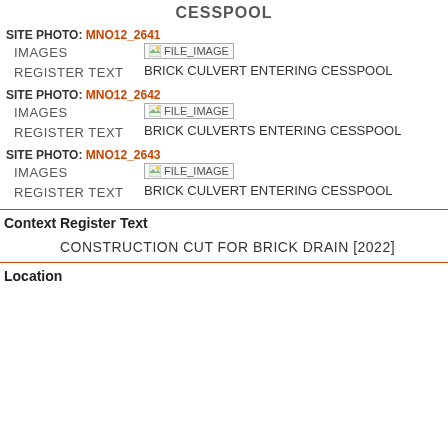CESSPOOL
SITE PHOTO: MNO12_2641
IMAGES
[Figure (photo): FILE_IMAGE placeholder]
REGISTER TEXT: BRICK CULVERT ENTERING CESSPOOL
SITE PHOTO: MNO12_2642
IMAGES
[Figure (photo): FILE_IMAGE placeholder]
REGISTER TEXT: BRICK CULVERTS ENTERING CESSPOOL
SITE PHOTO: MNO12_2643
IMAGES
[Figure (photo): FILE_IMAGE placeholder]
REGISTER TEXT: BRICK CULVERT ENTERING CESSPOOL
Context Register Text
CONSTRUCTION CUT FOR BRICK DRAIN [2022]
Location